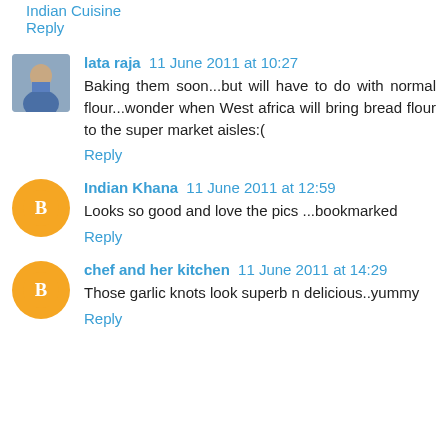Indian Cuisine
Reply
lata raja  11 June 2011 at 10:27
Baking them soon...but will have to do with normal flour...wonder when West africa will bring bread flour to the super market aisles:(
Reply
Indian Khana  11 June 2011 at 12:59
Looks so good and love the pics ...bookmarked
Reply
chef and her kitchen  11 June 2011 at 14:29
Those garlic knots look superb n delicious..yummy
Reply